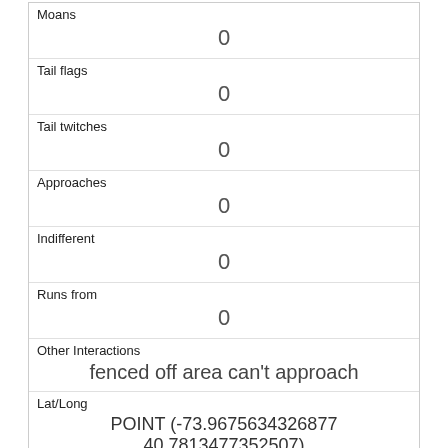| Moans | 0 |
| Tail flags | 0 |
| Tail twitches | 0 |
| Approaches | 0 |
| Indifferent | 0 |
| Runs from | 0 |
| Other Interactions | fenced off area can't approach |
| Lat/Long | POINT (-73.9675634326877 40.7813477352507) |
| Link | 54 |
| rowid | 54 |